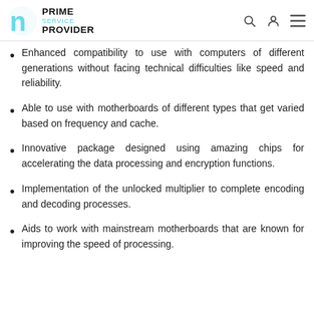PRIME SERVICE PROVIDER
Enhanced compatibility to use with computers of different generations without facing technical difficulties like speed and reliability.
Able to use with motherboards of different types that get varied based on frequency and cache.
Innovative package designed using amazing chips for accelerating the data processing and encryption functions.
Implementation of the unlocked multiplier to complete encoding and decoding processes.
Aids to work with mainstream motherboards that are known for improving the speed of processing.